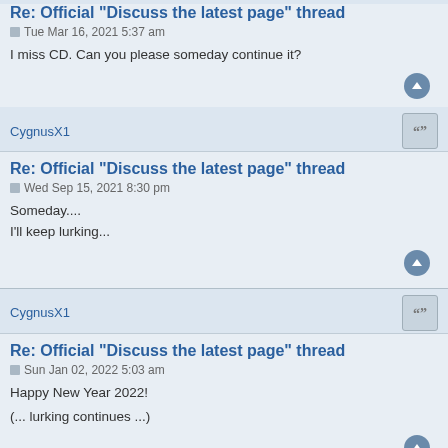Re: Official "Discuss the latest page" thread
Tue Mar 16, 2021 5:37 am
I miss CD. Can you please someday continue it?
CygnusX1
Re: Official "Discuss the latest page" thread
Wed Sep 15, 2021 8:30 pm
Someday....
I'll keep lurking...
CygnusX1
Re: Official "Discuss the latest page" thread
Sun Jan 02, 2022 5:03 am
Happy New Year 2022!

(... lurking continues ...)